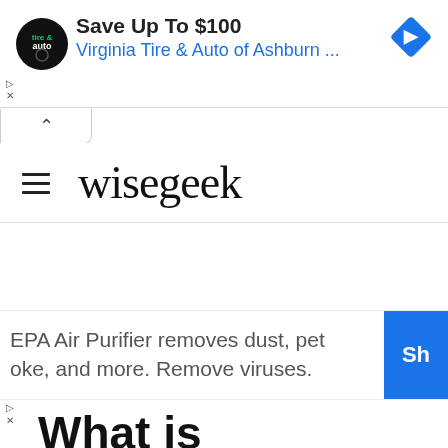[Figure (screenshot): Advertisement banner: Virginia Tire & Auto of Ashburn with logo and blue diamond navigation icon. Text: Save Up To $100, Virginia Tire & Auto of Ashburn ...]
[Figure (logo): wisegeek website logo with hamburger menu icon]
[Figure (screenshot): Advertisement: EPA Air Purifier removes dust, pet smoke, and more. Remove viruses. With blue Shop button.]
What is Ventricular